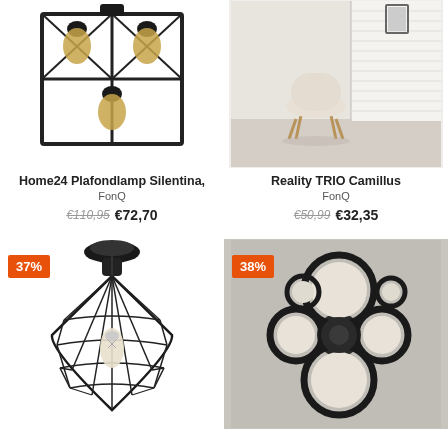[Figure (photo): Black cage ceiling lamp with Edison bulbs - Home24 Plafondlamp Silentina]
[Figure (photo): Minimalist living room scene for Reality TRIO Camillus lamp product]
Home24 Plafondlamp Silentina,
FonQ
€110,95  €72,70
Reality TRIO Camillus
FonQ
€50,99  €32,35
[Figure (photo): Black geometric wire cage pendant lamp with Edison bulb, 37% discount badge]
[Figure (photo): Black and white circular LED ceiling lamp cluster, 38% discount badge]